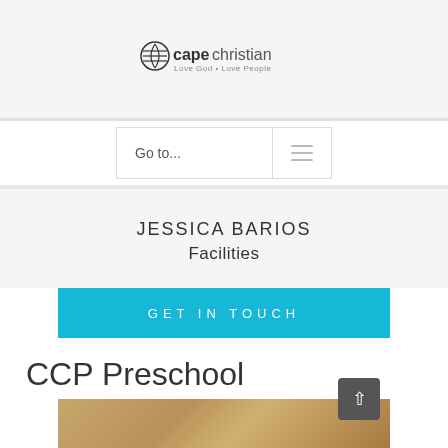[Figure (logo): Cape Christian church logo with circular icon and text 'capechristian Love God • Love People']
Go to...
JESSICA BARIOS
Facilities
GET IN TOUCH
CCP Preschool
[Figure (photo): Partial photo of a wooden surface or table, light brown/tan tones]